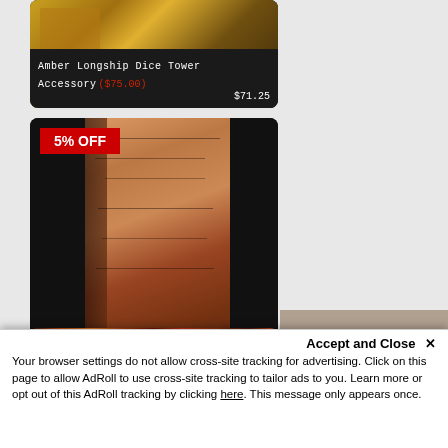[Figure (photo): Product card: Amber Longship Dice Tower Accessory, partially visible at top. Dark card with product image. Price shown: original $75.00 (strikethrough), sale price $71.25.]
Amber Longship Dice Tower Accessory ($75.00) $71.25
[Figure (photo): Product card: Padauk Wyrm Dice Tower Accessory with 5% OFF badge in red. Dark card showing wooden dice tower with dragon engraving. Original price $98.00, sale price $93.10.]
5% OFF
Padauk Wyrm Dice Tower Accessory ($98.00) $93.10
[Figure (photo): Product card: partially visible at bottom with 10% OFF badge. Shows colorful wooden dice tray with dice. Card is cut off by cookie consent popup.]
10% OFF
Padauk Dice Tray... (partially visible)
Accept and Close ✕
Your browser settings do not allow cross-site tracking for advertising. Click on this page to allow AdRoll to use cross-site tracking to tailor ads to you. Learn more or opt out of this AdRoll tracking by clicking here. This message only appears once.